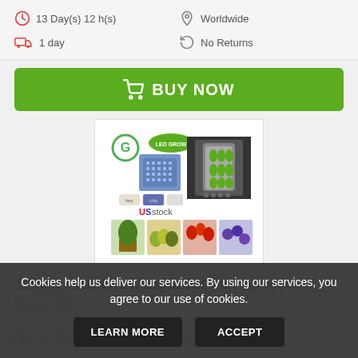13 Day(s) 12 h(s)
Worldwide
1 day
No Returns
BUY NOW
[Figure (photo): Product image of 1200W LED Grow Light Kit showing the LED panel, hydroponic setup, and various plants/vegetables. Labeled 'US stock'.]
1200W LED Grow Light Kit Full Spectr...
$122.99
Buy Now
New
Cookies help us deliver our services. By using our services, you agree to our use of cookies.
LEARN MORE
ACCEPT